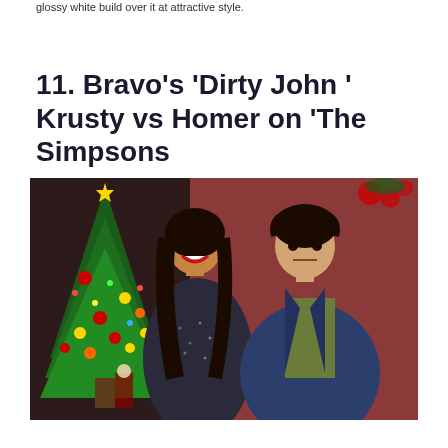glossy white build over it at attractive style.
11. Bravo's 'Dirty John ' Krusty vs Homer on 'The Simpsons
[Figure (photo): Two people sitting together in front of a decorated Christmas tree. A woman with long dark hair wearing a dark sparkly dress is on the left, smiling. A man with dark hair wearing a navy blazer over an olive shirt sits on the right, looking serious.]